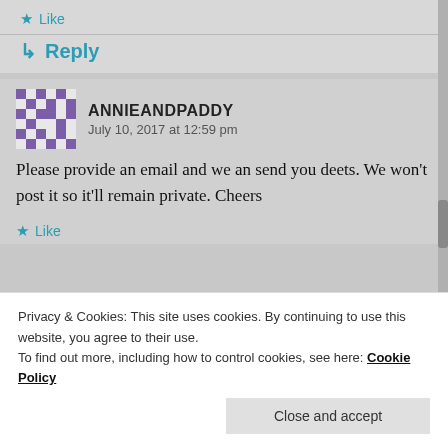★ Like
↳ Reply
ANNIEANDPADDY
July 10, 2017 at 12:59 pm
Please provide an email and we an send you deets. We won't post it so it'll remain private. Cheers
★ Like
Privacy & Cookies: This site uses cookies. By continuing to use this website, you agree to their use.
To find out more, including how to control cookies, see here: Cookie Policy
Close and accept